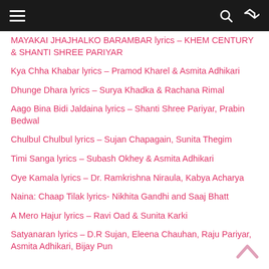Navigation bar with menu, search, and shuffle icons
MAYAKAI JHAJHALKO BARAMBAR lyrics – KHEM CENTURY & SHANTI SHREE PARIYAR
Kya Chha Khabar lyrics – Pramod Kharel & Asmita Adhikari
Dhunge Dhara lyrics – Surya Khadka & Rachana Rimal
Aago Bina Bidi Jaldaina lyrics – Shanti Shree Pariyar, Prabin Bedwal
Chulbul Chulbul lyrics – Sujan Chapagain, Sunita Thegim
Timi Sanga lyrics – Subash Okhey & Asmita Adhikari
Oye Kamala lyrics – Dr. Ramkrishna Niraula, Kabya Acharya
Naina: Chaap Tilak lyrics- Nikhita Gandhi and Saaj Bhatt
A Mero Hajur lyrics – Ravi Oad & Sunita Karki
Satyanaran lyrics – D.R Sujan, Eleena Chauhan, Raju Pariyar, Asmita Adhikari, Bijay Pun